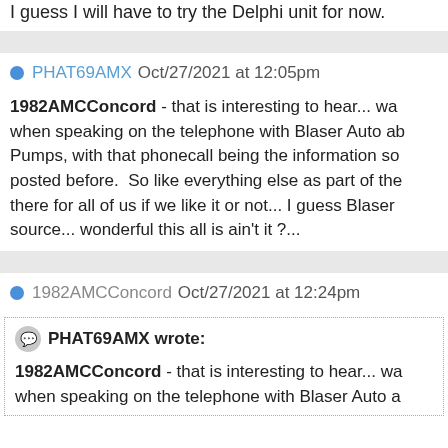I guess I will have to try the Delphi unit for now.
PHAT69AMX Oct/27/2021 at 12:05pm
1982AMCConcord - that is interesting to hear... was when speaking on the telephone with Blaser Auto ab Pumps, with that phonecall being the information so posted before.  So like everything else as part of the there for all of us if we like it or not... I guess Blaser source... wonderful this all is ain't it ?...
1982AMCConcord Oct/27/2021 at 12:24pm
PHAT69AMX wrote:
1982AMCConcord - that is interesting to hear... wa when speaking on the telephone with Blaser Auto a